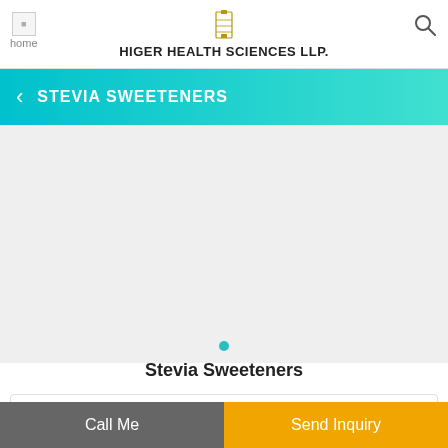home | HIGER HEALTH SCIENCES LLP.
STEVIA SWEETENERS
[Figure (other): Product image placeholder area with a teal dot indicator below, showing Stevia Sweeteners product image area on gray background]
Stevia Sweeteners
Product Description
Call Me
Send Inquiry